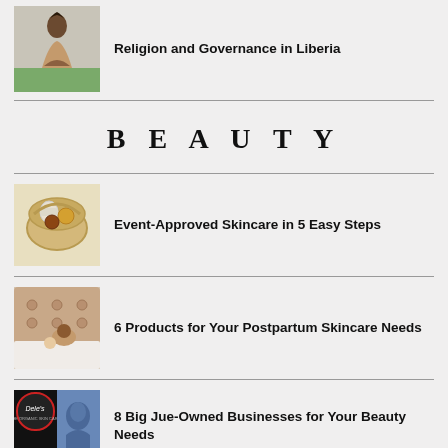[Figure (photo): Photo of a person sitting against a wall]
Religion and Governance in Liberia
BEAUTY
[Figure (photo): Photo of skincare products in a basket]
Event-Approved Skincare in 5 Easy Steps
[Figure (photo): Photo of a person resting on a bed]
6 Products for Your Postpartum Skincare Needs
[Figure (photo): Photo showing Dele's logo and blue portrait]
8 Big Jue-Owned Businesses for Your Beauty Needs